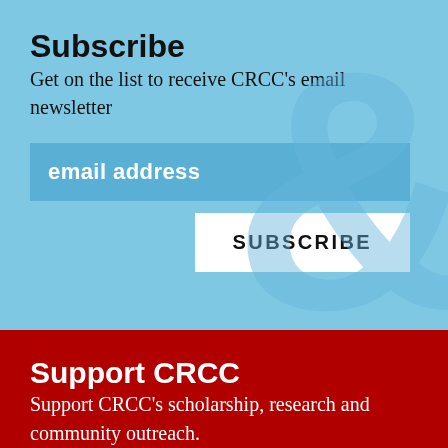Subscribe
Get on the list to receive CRCC's email newsletter
email address
SUBSCRIBE
Support CRCC
Support CRCC’s scholarship, research and community outreach.